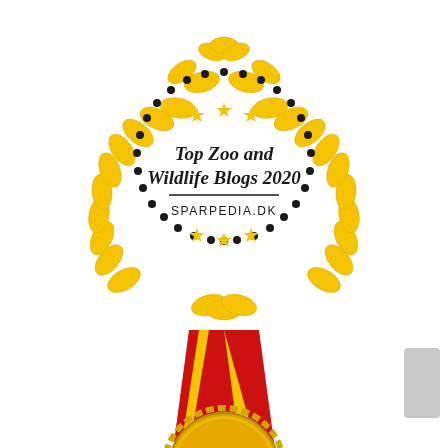[Figure (logo): Gold laurel wreath award badge with dotted inner circle, three gold stars at top and bottom, text reading 'Top Zoo and Wildlife Blogs 2020' in cursive font, with 'SPARPEDIA.DK' in caps below a horizontal line, on white background]
[Figure (illustration): Gold award medal with red and gold ribbon/lanyard in a V-shape. The medal is gold colored with decorative scalloped edge. Only the top portion of the medal is visible, partially cut off at bottom of page.]